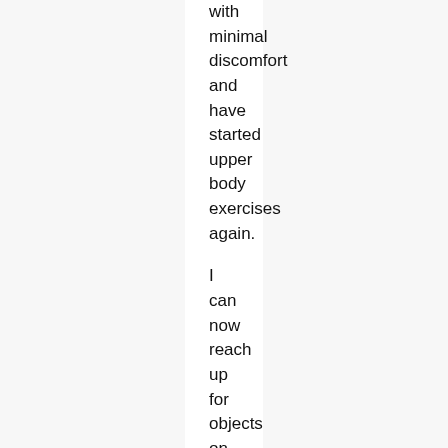with minimal discomfort and have started upper body exercises again.

I can now reach up for objects on the top shelf of my pantry! I also feel I have my strength back in my arm. The main benefit of Rick's program was that it was easy to do, easy to follow, and mostly pain-free."
[Figure (illustration): Bottom portion of a circular profile photo, light gray background, partially cropped at the bottom of the page.]